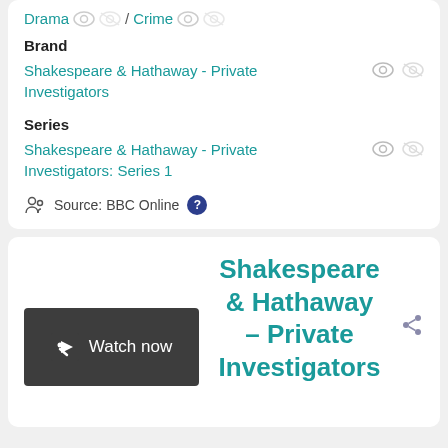Drama / Crime
Brand
Shakespeare & Hathaway - Private Investigators
Series
Shakespeare & Hathaway - Private Investigators: Series 1
Source: BBC Online
[Figure (screenshot): Watch now button with iPlayer arrow icon on dark background]
Shakespeare & Hathaway - Private Investigators